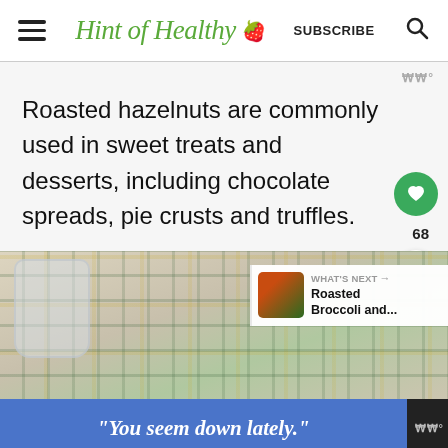Hint of Healthy — SUBSCRIBE
Roasted hazelnuts are commonly used in sweet treats and desserts, including chocolate spreads, pie crusts and truffles.
[Figure (photo): Photo of a glass jar and a plaid cloth with yellow and green stripes, with a 'What's Next: Roasted Broccoli and...' overlay in the top right corner]
"You seem down lately."